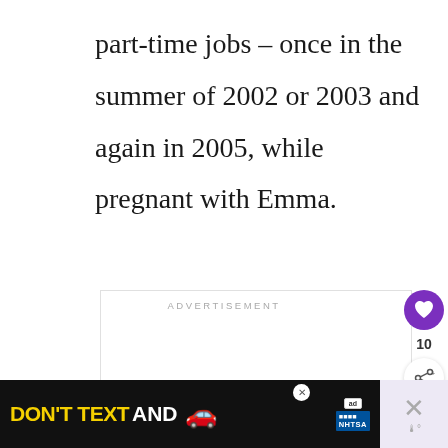part-time jobs – once in the summer of 2002 or 2003 and again in 2005, while pregnant with Emma.
[Figure (screenshot): Advertisement placeholder box with 'ADVERTISEMENT' label, heart/like button (10 likes), share button, 'WHAT'S NEXT' promo for '3D Paper Christmas...', pagination dots, and a bottom banner ad reading 'DON'T TEXT AND' with a car emoji and NHTSA branding.]